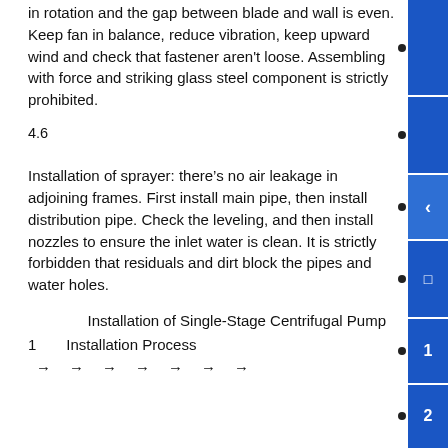in rotation and the gap between blade and wall is even. Keep fan in balance, reduce vibration, keep upward wind and check that fastener aren't loose. Assembling with force and striking glass steel component is strictly prohibited.
4.6
Installation of sprayer: there’s no air leakage in adjoining frames. First install main pipe, then install distribution pipe. Check the leveling, and then install nozzles to ensure the inlet water is clean. It is strictly forbidden that residuals and dirt block the pipes and water holes.
Installation of Single-Stage Centrifugal Pump
1 Installation Process
→ → → → → → →